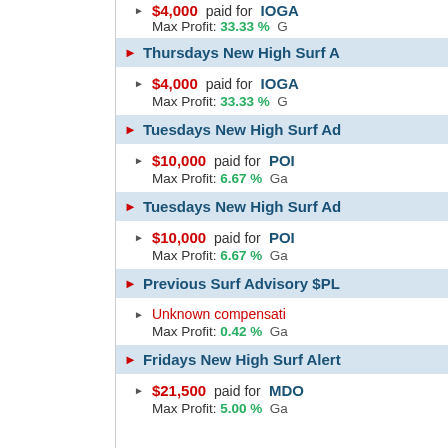$4,000 paid for IOGA — Max Profit: 33.33% Ga
Thursdays New High Surf A
$4,000 paid for IOGA — Max Profit: 33.33% G
Tuesdays New High Surf Ad
$10,000 paid for POI — Max Profit: 6.67% Ga
Tuesdays New High Surf Ad
$10,000 paid for POI — Max Profit: 6.67% Ga
Previous Surf Advisory $PL
Unknown compensati — Max Profit: 0.42% Ga
Fridays New High Surf Alert
$21,500 paid for MDO — Max Profit: 5.00% Ga